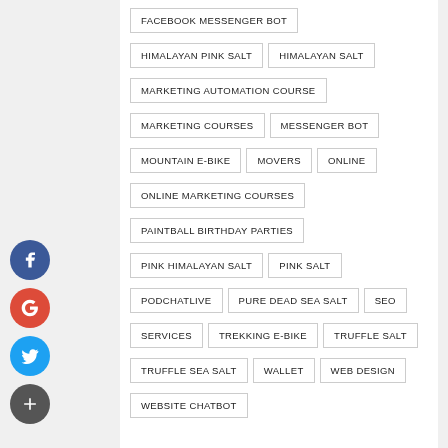FACEBOOK MESSENGER BOT
HIMALAYAN PINK SALT
HIMALAYAN SALT
MARKETING AUTOMATION COURSE
MARKETING COURSES
MESSENGER BOT
MOUNTAIN E-BIKE
MOVERS
ONLINE
ONLINE MARKETING COURSES
PAINTBALL BIRTHDAY PARTIES
PINK HIMALAYAN SALT
PINK SALT
PODCHATLIVE
PURE DEAD SEA SALT
SEO
SERVICES
TREKKING E-BIKE
TRUFFLE SALT
TRUFFLE SEA SALT
WALLET
WEB DESIGN
WEBSITE CHATBOT